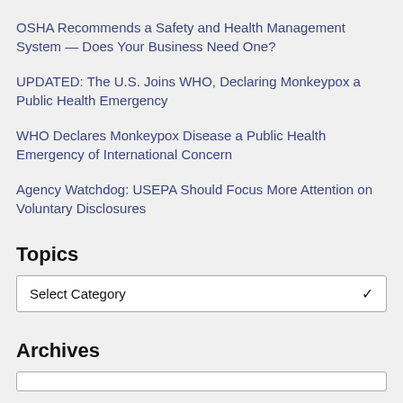OSHA Recommends a Safety and Health Management System — Does Your Business Need One?
UPDATED: The U.S. Joins WHO, Declaring Monkeypox a Public Health Emergency
WHO Declares Monkeypox Disease a Public Health Emergency of International Concern
Agency Watchdog: USEPA Should Focus More Attention on Voluntary Disclosures
Topics
Select Category
Archives